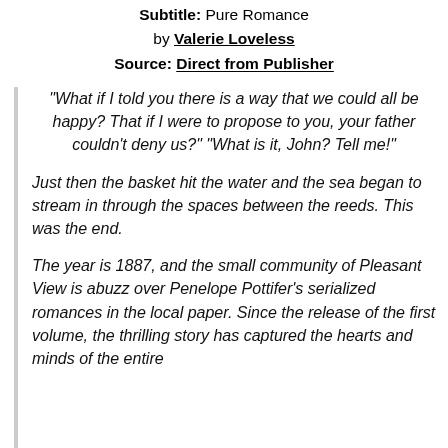Subtitle: Pure Romance
by Valerie Loveless
Source: Direct from Publisher
“What if I told you there is a way that we could all be happy? That if I were to propose to you, your father couldn’t deny us?” “What is it, John? Tell me!”
Just then the basket hit the water and the sea began to stream in through the spaces between the reeds. This was the end.
The year is 1887, and the small community of Pleasant View is abuzz over Penelope Pottifer’s serialized romances in the local paper. Since the release of the first volume, the thrilling story has captured the hearts and minds of the entire